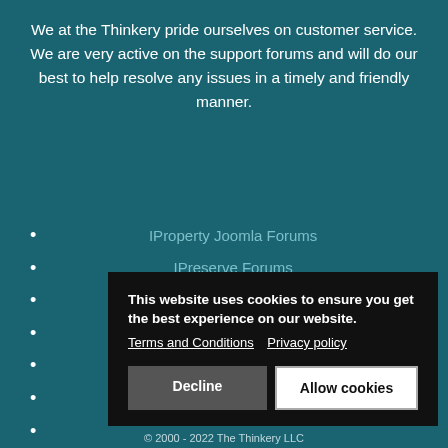We at the Thinkery pride ourselves on customer service. We are very active on the support forums and will do our best to help resolve any issues in a timely and friendly manner.
IProperty Joomla Forums
IPreserve Forums
IReport Forums
Work Force Forums
Report Card Forums
ITransport Forums
This website uses cookies to ensure you get the best experience on our website. Terms and Conditions  Privacy policy
Decline   Allow cookies
© 2000 - 2022 The Thinkery LLC